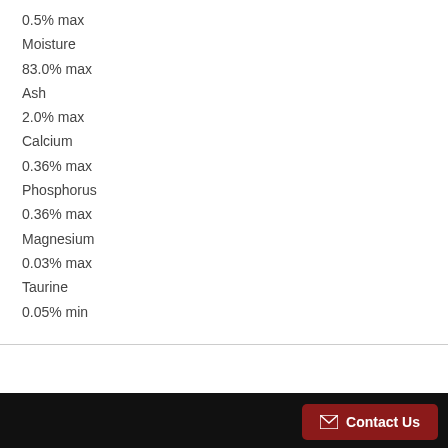0.5% max
Moisture
83.0% max
Ash
2.0% max
Calcium
0.36% max
Phosphorus
0.36% max
Magnesium
0.03% max
Taurine
0.05% min
Contact Us